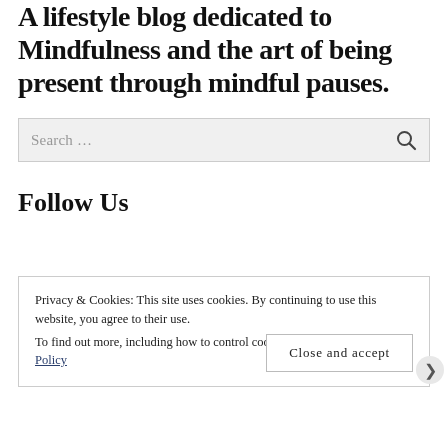A lifestyle blog dedicated to Mindfulness and the art of being present through mindful pauses.
[Figure (screenshot): Search input field with placeholder text 'Search ...' and a magnifying glass icon on the right]
Follow Us
Privacy & Cookies: This site uses cookies. By continuing to use this website, you agree to their use. To find out more, including how to control cookies, see here: Cookie Policy
Close and accept